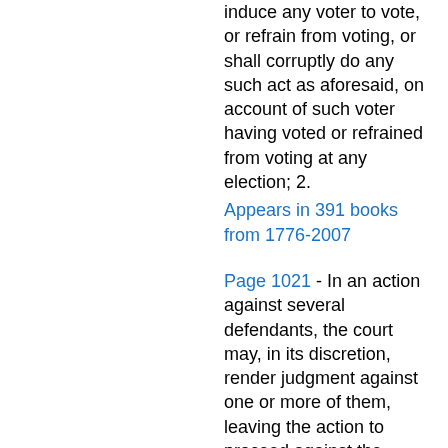induce any voter to vote, or refrain from voting, or shall corruptly do any such act as aforesaid, on account of such voter having voted or refrained from voting at any election; 2.
Appears in 391 books from 1776-2007
Page 1021 - In an action against several defendants, the court may, in its discretion, render judgment against one or more of them, leaving the action to proceed against the others, whenever a several judgment may be proper.
Appears in 247 books